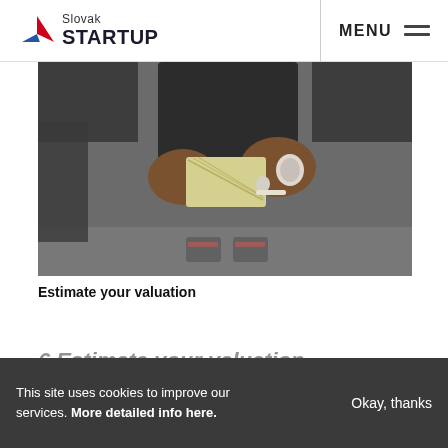Slovak STARTUP — MENU
[Figure (photo): Aerial view of a person holding a fan of cash banknotes and a cigarette, wearing a watch and ring, standing on a sidewalk]
Estimate your valuation
6 Estimate your valuation
This site uses cookies to improve our services. More detailed info here.
Okay, thanks